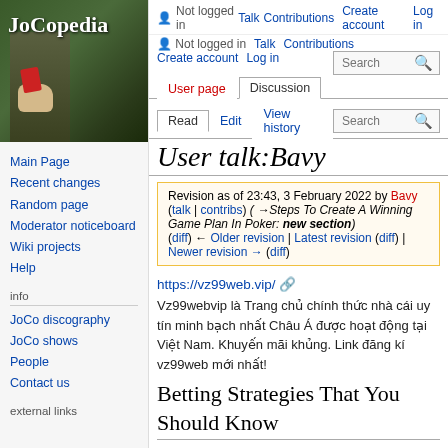[Figure (logo): JoCopedia wiki logo — person holding a book/card against green background with stylized text]
Main Page
Recent changes
Random page
Moderator noticeboard
Wiki projects
Help
info
JoCo discography
JoCo shows
People
Contact us
external links
Not logged in  Talk  Contributions  Create account  Log in
User talk:Bavy
Revision as of 23:43, 3 February 2022 by Bavy (talk | contribs) (→Steps To Create A Winning Game Plan In Poker: new section)
(diff) ← Older revision | Latest revision (diff) | Newer revision → (diff)
https://vz99web.vip/
Vz99webvip là Trang chủ chính thức nhà cái uy tín minh bạch nhất Châu Á được hoạt động tại Việt Nam. Khuyến mãi khủng. Link đăng kí vz99web mới nhất!
Betting Strategies That You Should Know